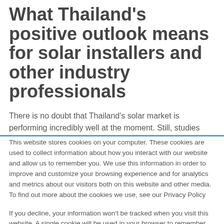What Thailand's positive outlook means for solar installers and other industry professionals
There is no doubt that Thailand's solar market is performing incredibly well at the moment. Still, studies
This website stores cookies on your computer. These cookies are used to collect information about how you interact with our website and allow us to remember you. We use this information in order to improve and customize your browsing experience and for analytics and metrics about our visitors both on this website and other media. To find out more about the cookies we use, see our Privacy Policy

If you decline, your information won't be tracked when you visit this website. A single cookie will be used in your browser to remember your preference not to be tracked.